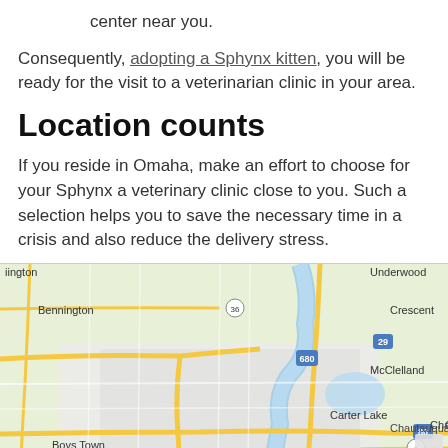center near you.
Consequently, adopting a Sphynx kitten, you will be ready for the visit to a veterinarian clinic in your area.
Location counts
If you reside in Omaha, make an effort to choose for your Sphynx a veterinary clinic close to you. Such a selection helps you to save the necessary time in a crisis and also reduce the delivery stress.
[Figure (map): Google Maps view of the Omaha, Nebraska area showing surrounding cities including Bennington, Crescent, Carter Lake, Boys Town, Chautauqua, McClelland, Underwood, and major highways including I-680, I-29, I-80, and routes 36, 6, 75, 92.]